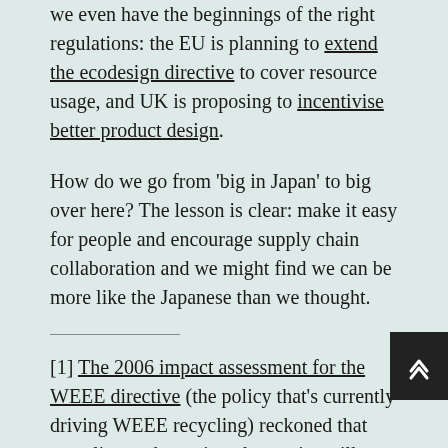we even have the beginnings of the right regulations: the EU is planning to extend the ecodesign directive to cover resource usage, and UK is proposing to incentivise better product design.
How do we go from 'big in Japan' to big over here? The lesson is clear: make it easy for people and encourage supply chain collaboration and we might find we can be more like the Japanese than we thought.
[1] The 2006 impact assessment for the WEEE directive (the policy that's currently driving WEEE recycling) reckoned that recycling and re-using electronics will cost around £170.5 million in 2013. Combining this with the 2011 census estimate of 23.4 million households gives a cost per household of £7.28. In Japan, it costs around £13.58 per litre...